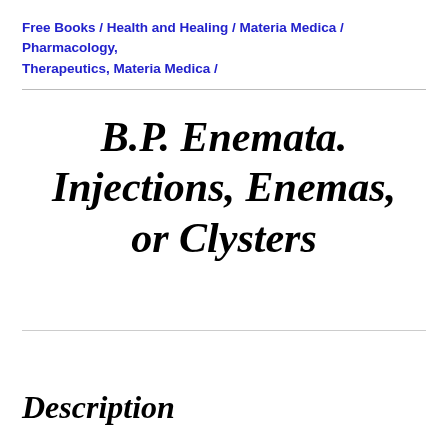Free Books / Health and Healing / Materia Medica / Pharmacology, Therapeutics, Materia Medica /
B.P. Enemata. Injections, Enemas, or Clysters
Description